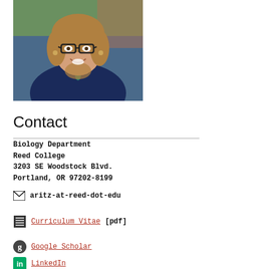[Figure (photo): Headshot of a woman with glasses and blonde-brown hair, smiling, wearing a navy top with a teal pendant necklace, outdoors.]
Contact
Biology Department
Reed College
3203 SE Woodstock Blvd.
Portland, OR 97202-8199
aritz-at-reed-dot-edu
Curriculum Vitae [pdf]
Google Scholar
LinkedIn